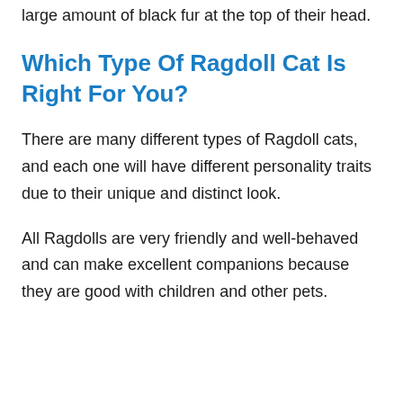large amount of black fur at the top of their head.
Which Type Of Ragdoll Cat Is Right For You?
There are many different types of Ragdoll cats, and each one will have different personality traits due to their unique and distinct look.
All Ragdolls are very friendly and well-behaved and can make excellent companions because they are good with children and other pets.